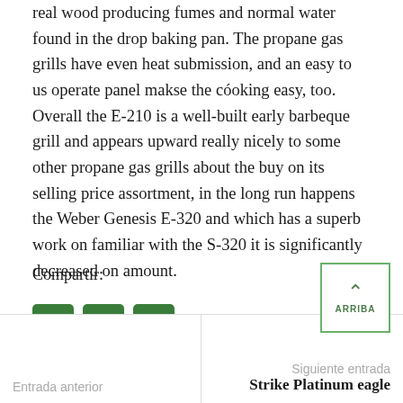real wood producing fumes and normal water found in the drop baking pan. The propane gas grills have even heat submission, and an easy to us operate panel makse the cóoking easy, too. Overall the E-210 is a well-built early barbeque grill and appears upward really nicely to some other propane gas grills about the buy on its selling price assortment, in the long run happens the Weber Genesis E-320 and which has a superb work on familiar with the S-320 it is significantly decreased on amount.
Compartir:
[Figure (other): Three green social share icon buttons: Facebook (f), WhatsApp, and Email]
Entrada anterior
Siguiente entrada
Strike Platinum eagle